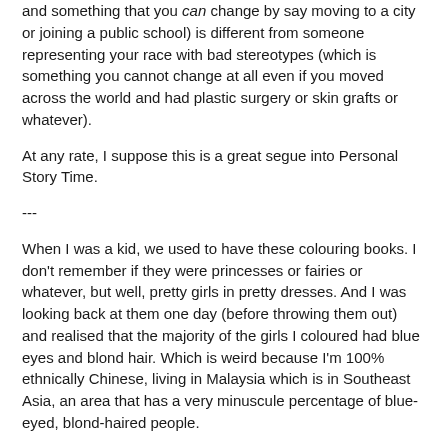and something that you can change by say moving to a city or joining a public school) is different from someone representing your race with bad stereotypes (which is something you cannot change at all even if you moved across the world and had plastic surgery or skin grafts or whatever).
At any rate, I suppose this is a great segue into Personal Story Time.
---
When I was a kid, we used to have these colouring books. I don't remember if they were princesses or fairies or whatever, but well, pretty girls in pretty dresses. And I was looking back at them one day (before throwing them out) and realised that the majority of the girls I coloured had blue eyes and blond hair. Which is weird because I'm 100% ethnically Chinese, living in Malaysia which is in Southeast Asia, an area that has a very minuscule percentage of blue-eyed, blond-haired people.
When I started writing, I would hardly ever describe my